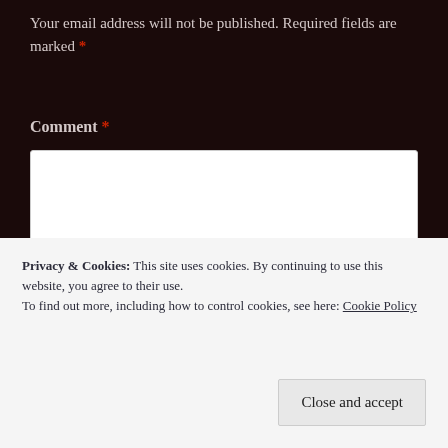Your email address will not be published. Required fields are marked *
Comment *
[Figure (other): Empty white comment text area input box]
Privacy & Cookies: This site uses cookies. By continuing to use this website, you agree to their use.
To find out more, including how to control cookies, see here: Cookie Policy
Close and accept